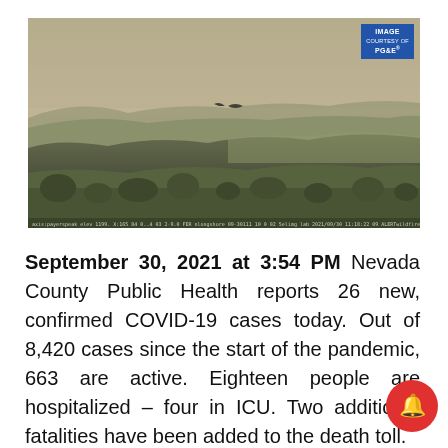[Figure (photo): Aerial/landscape camera view from a hilltop showing smoky skies, mountains, and valley below. A bird is visible in flight. Image courtesy of PG&E. Camera metadata text along the bottom edge.]
September 30, 2021 at 3:54 PM Nevada County Public Health reports 26 new, confirmed COVID-19 cases today. Out of 8,420 cases since the start of the pandemic, 663 are active. Eighteen people are hospitalized – four in ICU. Two additional fatalities have been added to the death toll.